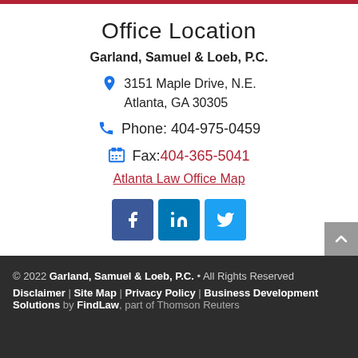Office Location
Garland, Samuel & Loeb, P.C.
3151 Maple Drive, N.E.
Atlanta, GA 30305
Phone: 404-975-0459
Fax: 404-365-5041
Atlanta Law Office Map
[Figure (other): Social media icon buttons for Facebook, LinkedIn, and Twitter]
© 2022 Garland, Samuel & Loeb, P.C. • All Rights Reserved
Disclaimer | Site Map | Privacy Policy | Business Development Solutions by FindLaw, part of Thomson Reuters